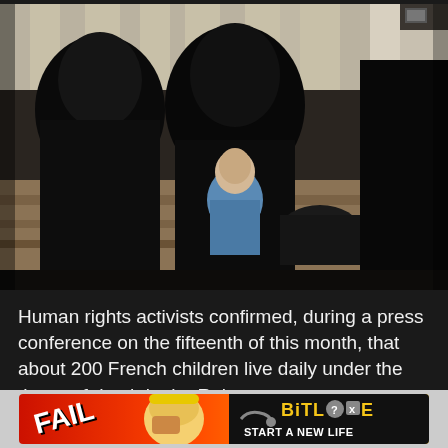[Figure (photo): Three figures wearing black niqabs seated on a couch in an indoor setting. A small child in a blue hoodie sits between two of the women. The background shows curtains and a patterned sofa.]
Human rights activists confirmed, during a press conference on the fifteenth of this month, that about 200 French children live daily under the threat of death in the Rojava camps, northeastern Syria, where the situation is still tense.
[Figure (advertisement): BitLife 'Start A New Life' advertisement banner with FAIL text and cartoon character, orange/red gradient background with black right panel showing BitLife logo in yellow.]